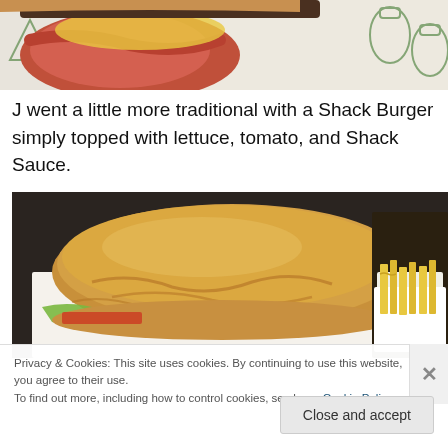[Figure (photo): Top portion of a burger with toppings on branded Shake Shack paper, partially cropped]
J went a little more traditional with a Shack Burger simply topped with lettuce, tomato, and Shack Sauce.
[Figure (photo): A Shack Burger with bun and lettuce visible, served with crinkle-cut fries on the right, on white paper]
Privacy & Cookies: This site uses cookies. By continuing to use this website, you agree to their use.
To find out more, including how to control cookies, see here: Cookie Policy
Close and accept